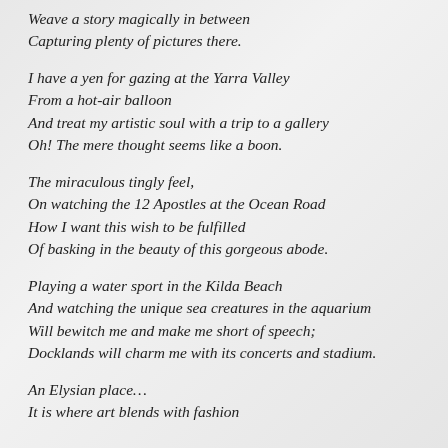Weave a story magically in between
Capturing plenty of pictures there.
I have a yen for gazing at the Yarra Valley
From a hot-air balloon
And treat my artistic soul with a trip to a gallery
Oh! The mere thought seems like a boon.
The miraculous tingly feel,
On watching the 12 Apostles at the Ocean Road
How I want this wish to be fulfilled
Of basking in the beauty of this gorgeous abode.
Playing a water sport in the Kilda Beach
And watching the unique sea creatures in the aquarium
Will bewitch me and make me short of speech;
Docklands will charm me with its concerts and stadium.
An Elysian place…
It is where art blends with fashion